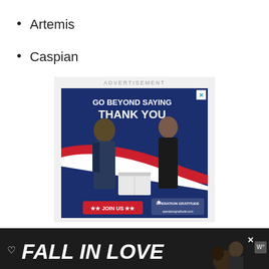Artemis
Caspian
[Figure (photo): Advertisement banner: Operation Gratitude 'Go Beyond Saying Thank You / Join Us' showing two people exchanging a care package]
[Figure (photo): Bottom advertisement banner: 'Fall In Love' with dog and person, dark background, Wattpad logo]